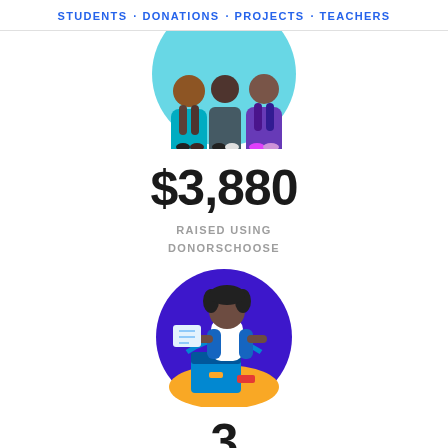STUDENTS · DONATIONS · PROJECTS · TEACHERS
[Figure (illustration): Illustration of three people standing together, cropped at the bottom of the image, with a teal circle background. Partially visible at top of page.]
$3,880
RAISED USING DONORSCHOOSE
[Figure (illustration): Illustration of a child with pigtails sitting at a desk opening a box with supplies, set against a purple circular background with yellow/gold at the bottom.]
3
PROJECTS FUNDED
[Figure (illustration): Illustration of a person with dark hair, partially visible, set against a purple circular background. Cropped at the bottom of the page.]